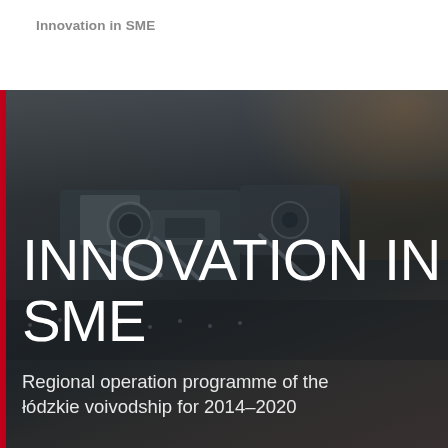Innovation in SME
[Figure (photo): Dark industrial manufacturing machinery photo used as hero background with overlay text]
INNOVATION IN SME
Regional operation programme of the łódzkie voivodship for 2014–2020